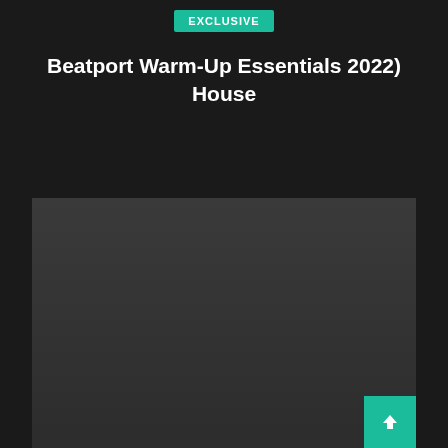[Figure (screenshot): Badge label reading EXCLUSIVE on teal/green background]
Beatport Warm-Up Essentials 2022) House
[Figure (screenshot): Dark card containing an EXCLUSIVE badge and album artwork area]
Beatport Warm-Up Essentials (2022) Deep House
[Figure (screenshot): Partially visible dark card at bottom of page]
[Figure (screenshot): Scroll to top button - teal square with upward arrow icon in bottom right]